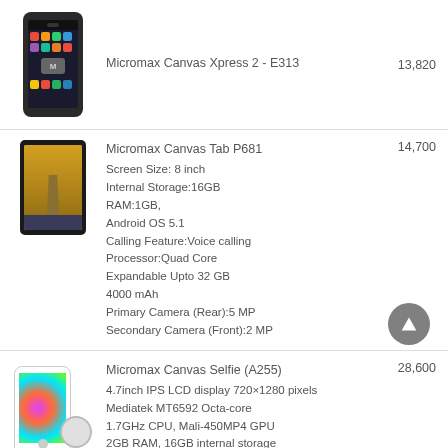[Figure (photo): Micromax Canvas Xpress 2 - E313 smartphone image]
Micromax Canvas Xpress 2 - E313	13,820
[Figure (photo): Micromax Canvas Tab P681 tablet image]
Micromax Canvas Tab P681	14,700
Screen Size: 8 inch
Internal Storage:16GB
RAM:1GB,
Android OS 5.1
Calling Feature:Voice calling
Processor:Quad Core
Expandable Upto 32 GB
4000 mAh
Primary Camera (Rear):5 MP
Secondary Camera (Front):2 MP
[Figure (photo): Micromax Canvas Selfie (A255) smartphone image]
Micromax Canvas Selfie (A255)	28,600
4.7inch IPS LCD display 720×1280 pixels
Mediatek MT6592 Octa-core
1.7GHz CPU, Mali-450MP4 GPU
2GB RAM, 16GB internal storage
Android v4.4.2 KitKat